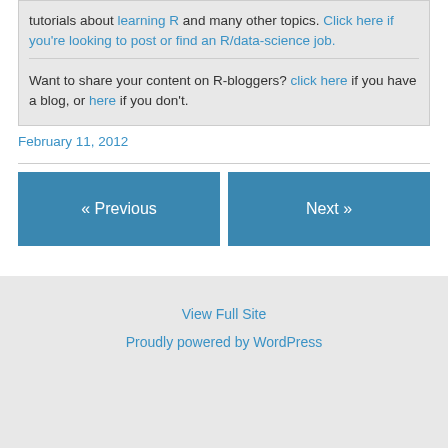tutorials about learning R and many other topics. Click here if you're looking to post or find an R/data-science job.
Want to share your content on R-bloggers? click here if you have a blog, or here if you don't.
February 11, 2012
« Previous
Next »
View Full Site
Proudly powered by WordPress